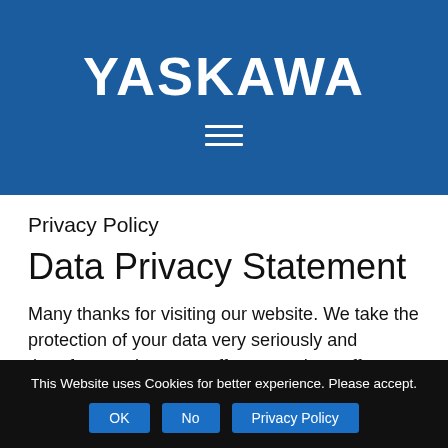[Figure (logo): Yaskawa logo — white bold text 'YASKAWA' on blue background header banner with hamburger menu icon below]
Privacy Policy
Data Privacy Statement
Many thanks for visiting our website. We take the protection of your data very seriously and therefore, make every effort not only to offer
This Website uses Cookies for better experience. Please accept.
OK   No   Privacy Policy